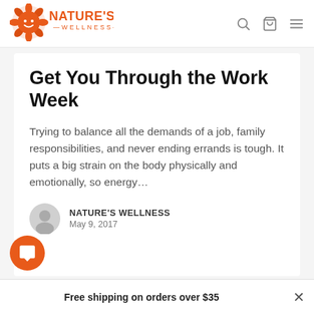[Figure (logo): Nature's Wellness logo with orange sunflower/face icon and orange text]
Get You Through the Work Week
Trying to balance all the demands of a job, family responsibilities, and never ending errands is tough. It puts a big strain on the body physically and emotionally, so energy...
NATURE'S WELLNESS
May 9, 2017
Free shipping on orders over $35